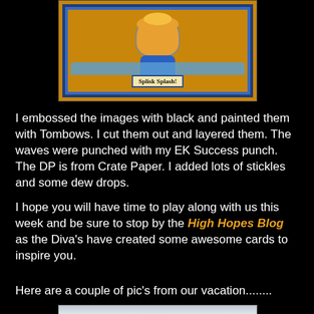[Figure (photo): A handmade greeting card with orange/yellow background, blue border, a duck character wearing a blue outfit, wave elements, and a label reading 'Splisk Splash!']
I embossed the images with black and painted them with Tombows. I cut them out and layered them. The waves were punched with my EK Success punch. The DP is from Crate Paper. I added lots of stickles and some dew drops.
I hope you will have time to play along with us this week and be sure to stop by the High Hopes Blog as the Diva's have created some awesome cards to inspire you.
Here are a couple of pic's from our vacation........
[Figure (photo): Partial vacation photo, partially visible at bottom of page]